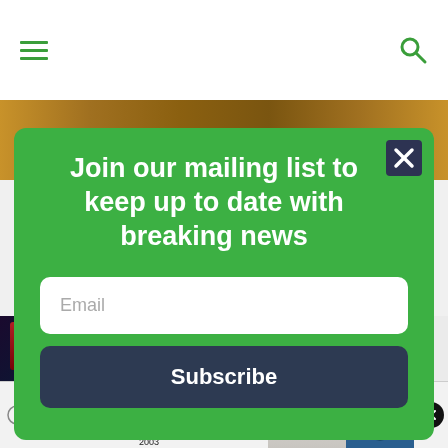Navigation bar with hamburger menu and search icon
[Figure (screenshot): Green modal popup overlay on a news website. Contains headline text 'Join our mailing list to keep up to date with breaking news', an email input field, and a Subscribe button.]
Join our mailing list to keep up to date with breaking news
Email
Subscribe
What's going on with crypto? This report
Acuerdo de la demanda colectiva por $82 Millones SI USTED COMPRO O ARRENDO UN AUTOMÓVIL O CAMIÓN NUEVO EN CALIFORNIA DESDE 2001 A 2003